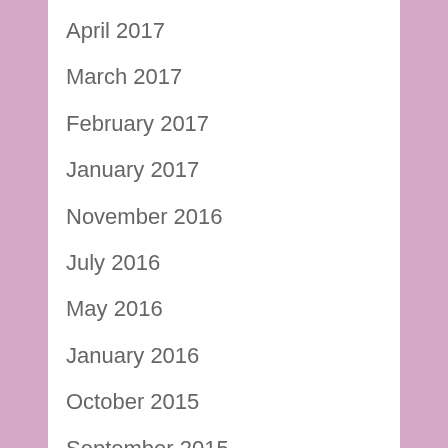April 2017
March 2017
February 2017
January 2017
November 2016
July 2016
May 2016
January 2016
October 2015
September 2015
August 2015